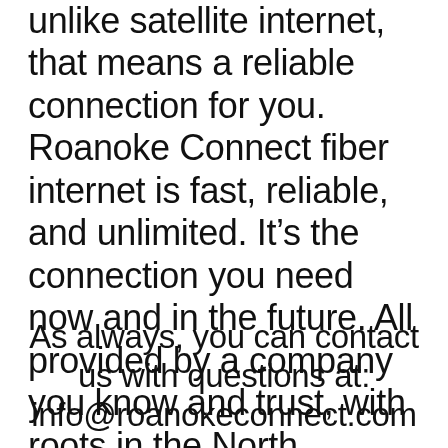unlike satellite internet, that means a reliable connection for you. Roanoke Connect fiber internet is fast, reliable, and unlimited. It’s the connection you need now and in the future. All provided by a company you know and trust, with roots in the North Carolina communities where you live.
As always, you can contact us with questions at: info@roanokeconnect.com